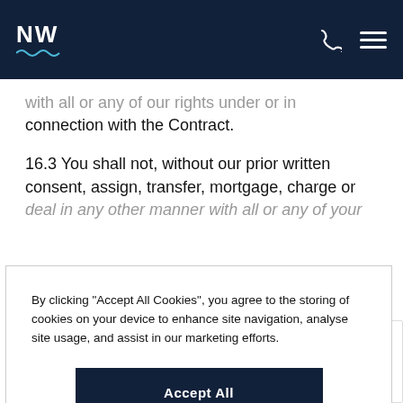NW
with all or any of our rights under or in connection with the Contract.
16.3 You shall not, without our prior written consent, assign, transfer, mortgage, charge or deal in any other manner with all or any of your
By clicking "Accept All Cookies", you agree to the storing of cookies on your device to enhance site navigation, analyse site usage, and assist in our marketing efforts.
Accept All Cookies
Reject